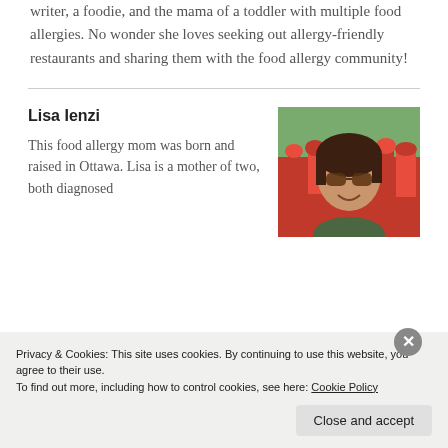writer, a foodie, and the mama of a toddler with multiple food allergies. No wonder she loves seeking out allergy-friendly restaurants and sharing them with the food allergy community!
Lisa Ienzi
This food allergy mom was born and raised in Ottawa. Lisa is a mother of two, both diagnosed
[Figure (photo): Woman with sunglasses smiling in front of red tulip field]
Privacy & Cookies: This site uses cookies. By continuing to use this website, you agree to their use. To find out more, including how to control cookies, see here: Cookie Policy
Close and accept